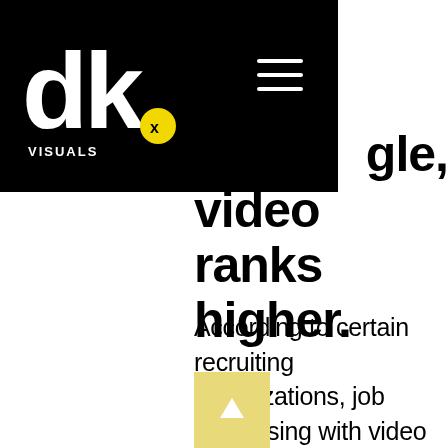[Figure (logo): DK Visuals logo with hamburger menu on black navigation bar]
gle, video ranks higher.
According to certain recruiting organizations, job advertising with video integrated generate 800% more interaction. As a consequence, these ads will rank better in applicants' search results and appear at the top. Companies that use video on their career sites will appear higher in Google searches.